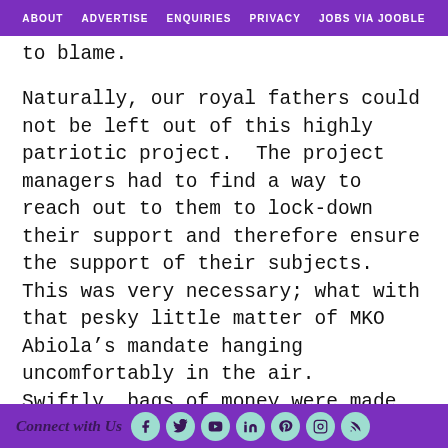ABOUT  ADVERTISE  ENQUIRIES  PRIVACY  JOBS VIA JOOBLE
to blame.

Naturally, our royal fathers could not be left out of this highly patriotic project.  The project managers had to find a way to reach out to them to lock-down their support and therefore ensure the support of their subjects.  This was very necessary; what with that pesky little matter of MKO Abiola’s mandate hanging uncomfortably in the air.  Swiftly, bags of money were made available for disbursement to the Obas.  But somebody had to carry those bags of money to the
Connect with Us